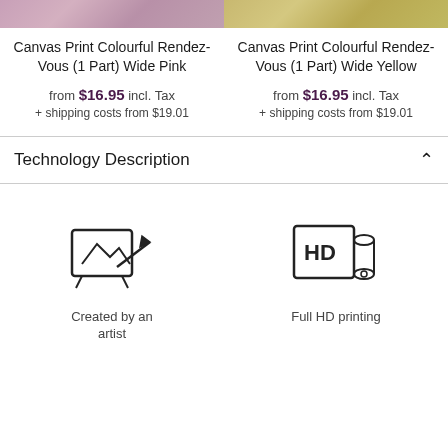[Figure (photo): Two product images at top — left: pink floral canvas, right: yellow floral canvas]
Canvas Print Colourful Rendez-Vous (1 Part) Wide Pink
from $16.95 incl. Tax
+ shipping costs from $19.01
Canvas Print Colourful Rendez-Vous (1 Part) Wide Yellow
from $16.95 incl. Tax
+ shipping costs from $19.01
Technology Description
[Figure (illustration): Icon: artist drawing on canvas with pencil]
Created by an artist
[Figure (illustration): Icon: HD roll/canvas print with HD label]
Full HD printing